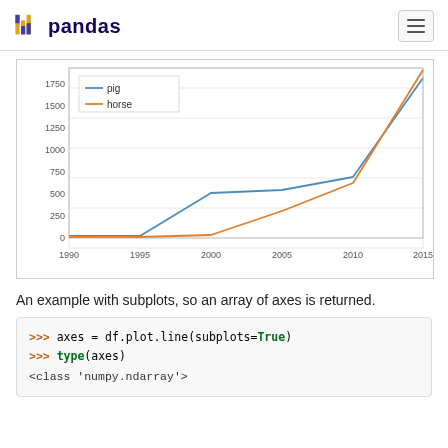pandas
[Figure (line-chart): ]
An example with subplots, so an array of axes is returned.
>>> axes = df.plot.line(subplots=True)
>>> type(axes)
<class 'numpy.ndarray'>